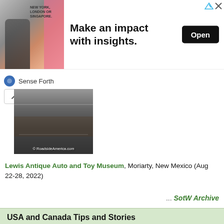[Figure (other): Advertisement banner: image of a man in business attire with text 'NEW YORK, LONDON OR SINGAPORE.' alongside headline 'Make an impact with insights.' and an Open button. Brand: Sense Forth.]
[Figure (photo): Photo of a vintage car interior or dashboard, with watermark '© RoadsideAmerica.com']
Lewis Antique Auto and Toy Museum, Moriarty, New Mexico (Aug 22-28, 2022)
... SotW Archive
USA and Canada Tips and Stories
Big Goofy Black Bird, Medford, Oregon
McKinley Death Mask Monument, Reading, Pennsylvania
Tea Cup Rock, Kensington, Prince Edward Island
Feature: Lewis Antique Auto and Toy Museum, Moriarty, New Mexico
R.E. Olds Transportation Museum, Lansing, Michigan